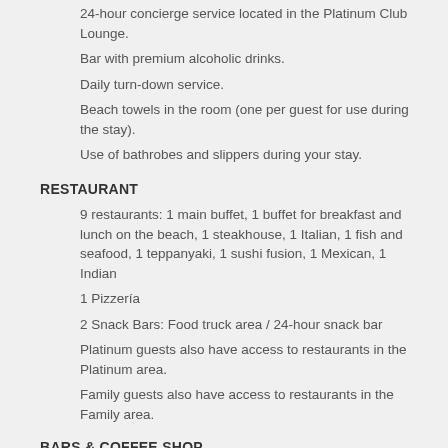24-hour concierge service located in the Platinum Club Lounge.
Bar with premium alcoholic drinks.
Daily turn-down service.
Beach towels in the room (one per guest for use during the stay).
Use of bathrobes and slippers during your stay.
RESTAURANT
9 restaurants: 1 main buffet, 1 buffet for breakfast and lunch on the beach, 1 steakhouse, 1 Italian, 1 fish and seafood, 1 teppanyaki, 1 sushi fusion, 1 Mexican, 1 Indian
1 Pizzería
2 Snack Bars: Food truck area / 24-hour snack bar
Platinum guests also have access to restaurants in the Platinum area.
Family guests also have access to restaurants in the Family area.
BARS & COFFEE SHOP